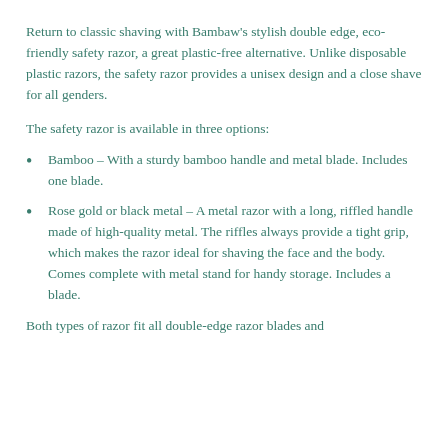Return to classic shaving with Bambaw's stylish double edge, eco-friendly safety razor, a great plastic-free alternative. Unlike disposable plastic razors, the safety razor provides a unisex design and a close shave for all genders.
The safety razor is available in three options:
Bamboo – With a sturdy bamboo handle and metal blade. Includes one blade.
Rose gold or black metal – A metal razor with a long, riffled handle made of high-quality metal. The riffles always provide a tight grip, which makes the razor ideal for shaving the face and the body. Comes complete with metal stand for handy storage. Includes a blade.
Both types of razor fit all double-edge razor blades and